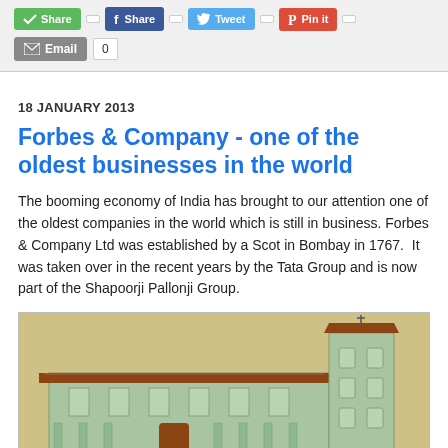[Figure (screenshot): Social sharing bar with buttons: green share button, Facebook blue button, Twitter blue button, red Pinterest button, count badges, and an Email button with count 0]
18 JANUARY 2013
Forbes & Company - one of the oldest businesses in the world
The booming economy of India has brought to our attention one of the oldest companies in the world which is still in business. Forbes & Company Ltd was established by a Scot in Bombay in 1767.  It was taken over in the recent years by the Tata Group and is now part of the Shapoorji Pallonji Group.
[Figure (illustration): Historical illustration of a colonial-era building with a red-brown roof and a tower, painted in a sepia/green tone style]